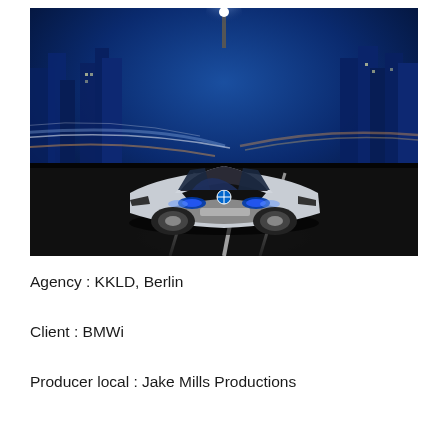[Figure (photo): A BMW i8 Concept sports car driving on a highway at night with a blue-lit city skyline in the background and light trails on the road. The car is silver/white with blue headlights.]
Agency : KKLD, Berlin
Client : BMWi
Producer local : Jake Mills Productions